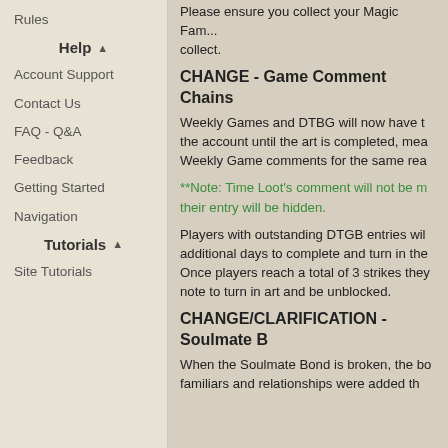Rules
Help
Account Support
Contact Us
FAQ - Q&A
Feedback
Getting Started
Navigation
Tutorials
Site Tutorials
Please ensure you collect your Magic Fam... collect.
CHANGE - Game Comment Chains
Weekly Games and DTBG will now have t... the account until the art is completed, mea... Weekly Game comments for the same rea...
**Note: Time Loot's comment will not be m... their entry will be hidden.
Players with outstanding DTGB entries wil... additional days to complete and turn in the... Once players reach a total of 3 strikes they... note to turn in art and be unblocked.
CHANGE/CLARIFICATION - Soulmate B...
When the Soulmate Bond is broken, the bo... familiars and relationships were added th...